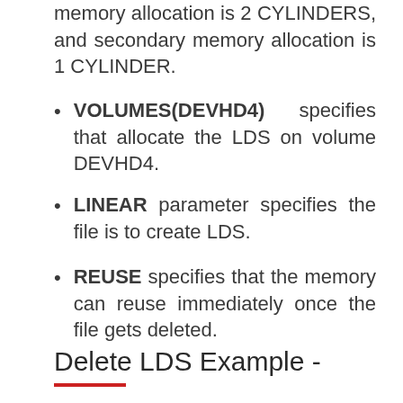memory allocation is 2 CYLINDERS, and secondary memory allocation is 1 CYLINDER.
VOLUMES(DEVHD4) specifies that allocate the LDS on volume DEVHD4.
LINEAR parameter specifies the file is to create LDS.
REUSE specifies that the memory can reuse immediately once the file gets deleted.
Delete LDS Example -